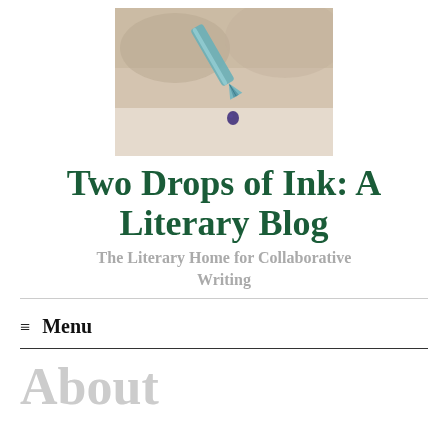[Figure (photo): Close-up photo of a fountain pen nib with a drop of blue ink falling from it, against a blurred beige background]
Two Drops of Ink: A Literary Blog
The Literary Home for Collaborative Writing
≡ Menu
About